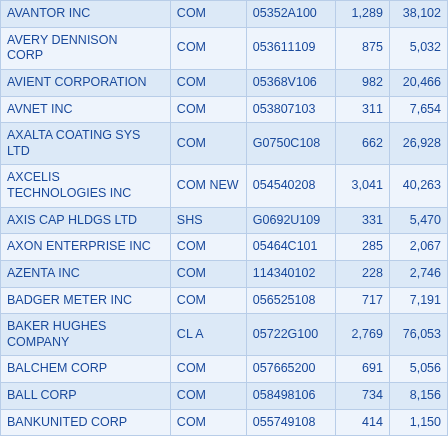| AVANTOR INC | COM | 05352A100 | 1,289 | 38,102 |
| AVERY DENNISON CORP | COM | 053611109 | 875 | 5,032 |
| AVIENT CORPORATION | COM | 05368V106 | 982 | 20,466 |
| AVNET INC | COM | 053807103 | 311 | 7,654 |
| AXALTA COATING SYS LTD | COM | G0750C108 | 662 | 26,928 |
| AXCELIS TECHNOLOGIES INC | COM NEW | 054540208 | 3,041 | 40,263 |
| AXIS CAP HLDGS LTD | SHS | G0692U109 | 331 | 5,470 |
| AXON ENTERPRISE INC | COM | 05464C101 | 285 | 2,067 |
| AZENTA INC | COM | 114340102 | 228 | 2,746 |
| BADGER METER INC | COM | 056525108 | 717 | 7,191 |
| BAKER HUGHES COMPANY | CL A | 05722G100 | 2,769 | 76,053 |
| BALCHEM CORP | COM | 057665200 | 691 | 5,056 |
| BALL CORP | COM | 058498106 | 734 | 8,156 |
| BANKUNITED CORP | COM | 055749108 | ... | ... |